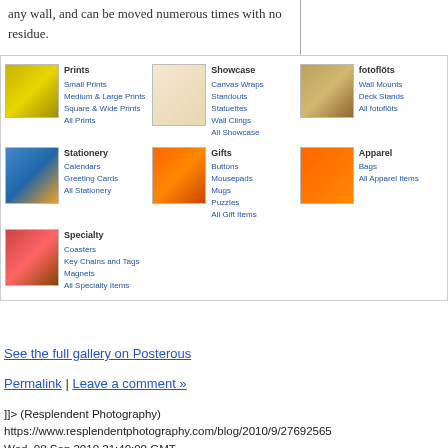any wall, and can be moved numerous times with no residue.

Image is printed on premium Photo-Tex material. Sticks to walls, doors, lockers, and more.
[Figure (screenshot): Product category grid from a photo printing website showing Prints, Showcase, fotoflöts, Stationery, Gifts, Apparel, and Specialty categories with thumbnail images and sub-category links]
See the full gallery on Posterous
Permalink | Leave a comment »
]]> (Resplendent Photography)
https://www.resplendentphotography.com/blog/2010/9/27692565
Wed, 08 Sep 2010 21:40:00 GMT